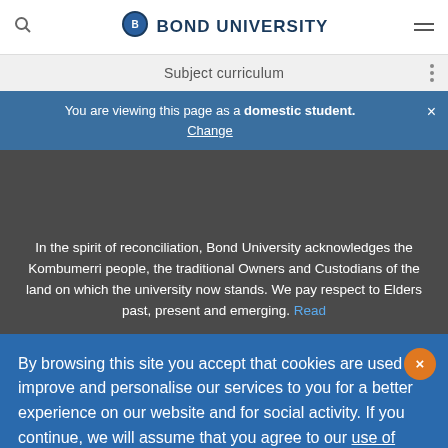Bond University — Subject curriculum
You are viewing this page as a domestic student. Change
In the spirit of reconciliation, Bond University acknowledges the Kombumerri people, the traditional Owners and Custodians of the land on which the university now stands. We pay respect to Elders past, present and emerging. Read...
By browsing this site you accept that cookies are used to improve and personalise our services to you for a better experience on our website and for social activity. If you continue, we will assume that you agree to our use of cookies statement.